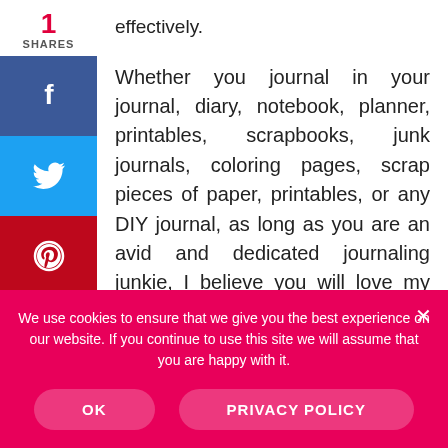effectively.
Whether you journal in your journal, diary, notebook, planner, printables, scrapbooks, junk journals, coloring pages, scrap pieces of paper, printables, or any DIY journal, as long as you are an avid and dedicated journaling junkie, I believe you will love my exclusive Joyful Journaling Therapy Club.
1 SHARES
We use cookies to ensure that we give you the best experience on our website. If you continue to use this site we will assume that you are happy with it.
OK
PRIVACY POLICY